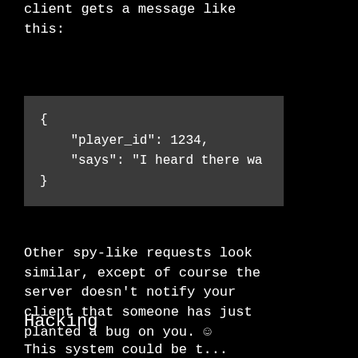client gets a message like this:
{
    "player_id": 1234,
    "says": "I heard there wa
}
Other spy-like requests look similar, except of course the server doesn't notify your client that someone has just planted a bug on you. ☺
Hacking
This system could be t...